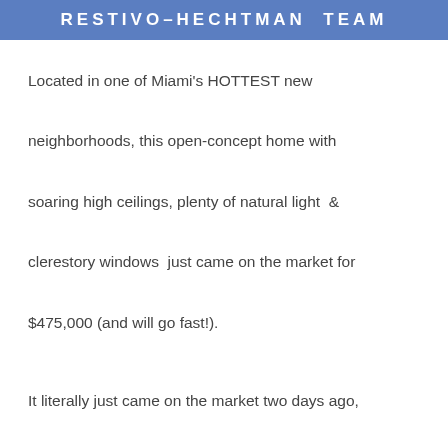RESTIVO–HECHTMAN TEAM
Located in one of Miami's HOTTEST new neighborhoods, this open-concept home with soaring high ceilings, plenty of natural light & clerestory windows just came on the market for $475,000 (and will go fast!).
It literally just came on the market two days ago, listed for sale through Vicki Restivo and Alexandra Hechtman. The address: 12451 SW